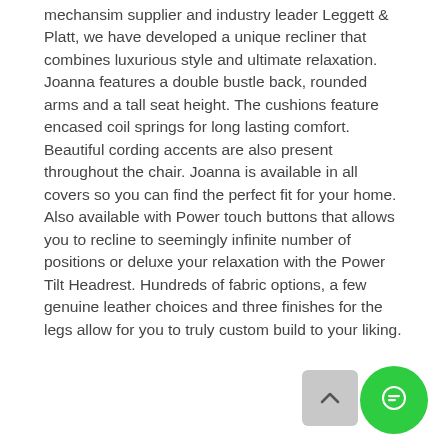mechansim supplier and industry leader Leggett & Platt, we have developed a unique recliner that combines luxurious style and ultimate relaxation. Joanna features a double bustle back, rounded arms and a tall seat height. The cushions feature encased coil springs for long lasting comfort. Beautiful cording accents are also present throughout the chair. Joanna is available in all covers so you can find the perfect fit for your home. Also available with Power touch buttons that allows you to recline to seemingly infinite number of positions or deluxe your relaxation with the Power Tilt Headrest. Hundreds of fabric options, a few genuine leather choices and three finishes for the legs allow for you to truly custom build to your liking.